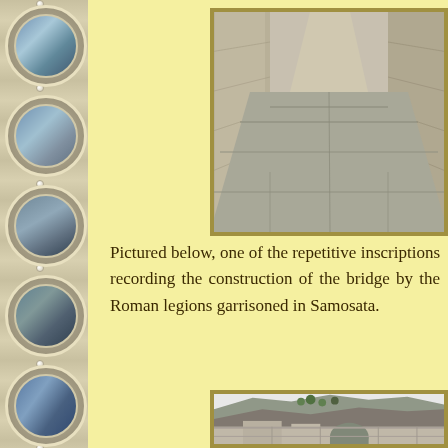[Figure (photo): Ancient stone paved pathway or corridor with large stone block walls on either side, receding into the distance — appears to be a Roman archaeological site.]
Pictured below, one of the repetitive inscriptions recording the construction of the bridge by the Roman legions garrisoned in Samosata.
[Figure (photo): Ancient stone bridge or aqueduct ruins with rocky hillside in background, showing arched stone structure — appears to be at the Roman archaeological site of Samosata.]